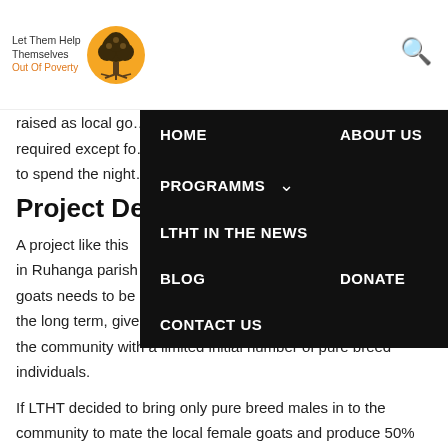Let Them Help Themselves Out Of Poverty
raised as local go... ment required except fo... a locally made hut to spend the night...
Project Des...
[Figure (screenshot): Navigation dropdown menu overlay with black background showing: HOME, ABOUT US, PROGRAMMS (with dropdown arrow), LTHT IN THE NEWS, BLOG, DONATE, CONTACT US]
A project like this ... munity in Ruhanga parish ... genetic pool of the goats needs to be as wide as possible to avoid in breeding in the long term, given we will be introducing a new breed into the community with a limited initial number of pure breed individuals.
If LTHT decided to bring only pure breed males in to the community to mate the local female goats and produce 50%